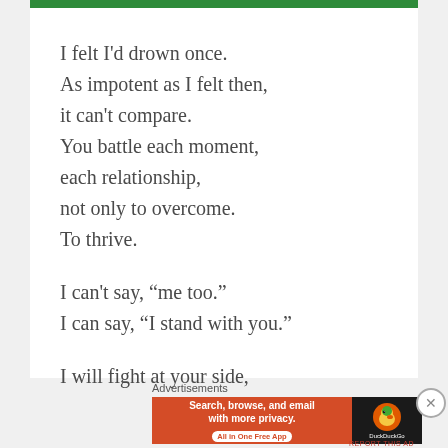I felt I'd drown once.
As impotent as I felt then,
it can't compare.
You battle each moment,
each relationship,
not only to overcome.
To thrive.

I can't say, “me too.”
I can say, “I stand with you.”

I will fight at your side,
[Figure (other): DuckDuckGo advertisement banner: orange background with text 'Search, browse, and email with more privacy. All in One Free App' and DuckDuckGo duck logo on dark background.]